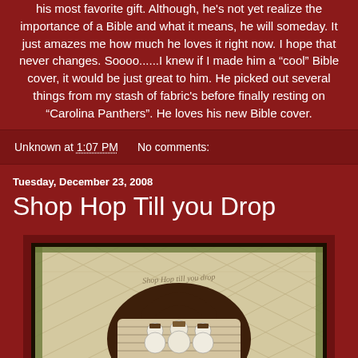his most favorite gift. Although, he's not yet realize the importance of a Bible and what it means, he will someday. It just amazes me how much he loves it right now. I hope that never changes. Soooo......I knew if I made him a "cool" Bible cover, it would be just great to him. He picked out several things from my stash of fabric's before finally resting on "Carolina Panthers". He loves his new Bible cover.
Unknown at 1:07 PM   No comments:
Tuesday, December 23, 2008
Shop Hop Till you Drop
[Figure (photo): A quilted wall hanging depicting a shopping bag with snowman figures inside, with text 'Shop Hop Till you Drop' stitched at the top, displayed in a dark wooden frame.]